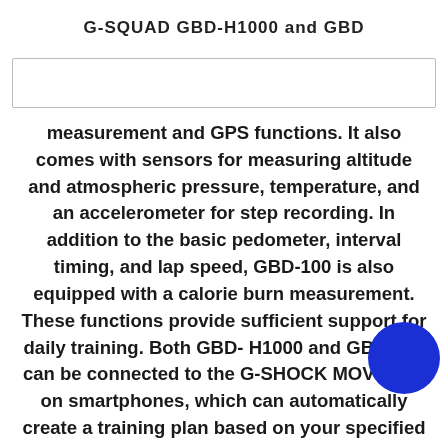G-SQUAD GBD-H1000 and GBD
measurement and GPS functions. It also comes with sensors for measuring altitude and atmospheric pressure, temperature, and an accelerometer for step recording. In addition to the basic pedometer, interval timing, and lap speed, GBD-100 is also equipped with a calorie burn measurement. These functions provide sufficient support for daily training. Both GBD-H1000 and GBD-100 can be connected to the G-SHOCK MOVE app on smartphones, which can automatically create a training plan based on your specified goals.